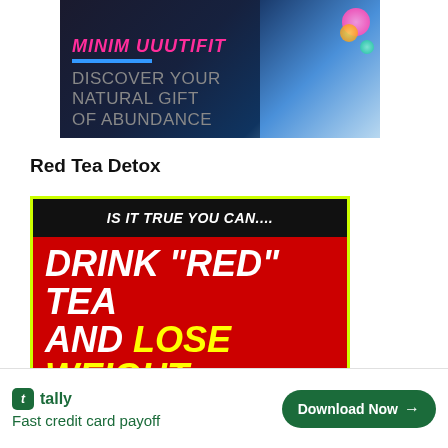[Figure (illustration): Advertisement banner showing a glowing brain/head with colorful orbs on a dark blue background, with pink bold italic title text, a blue underline, and gray uppercase text reading DISCOVER YOUR NATURAL GIFT OF ABUNDANCE]
Red Tea Detox
[Figure (illustration): Advertisement for Red Tea Detox with lime green border, black top bar reading IS IT TRUE YOU CAN...., red background with white bold italic text DRINK "RED" TEA AND LOSE WEIGHT OVERNIGHT? where LOSE WEIGHT is in yellow]
[Figure (illustration): Bottom advertisement bar for Tally app - Fast credit card payoff with a Download Now button]